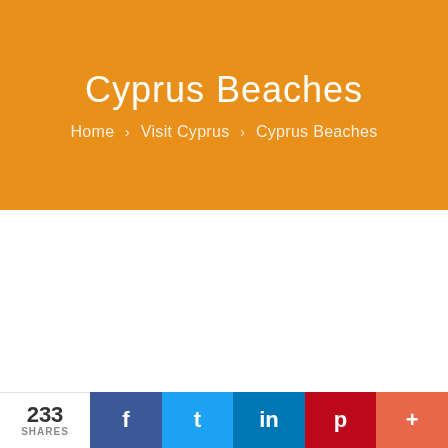Cyprus Beaches
Home › Visit Cyprus › Cyprus Beaches
233 SHARES  f  t  in  p  +